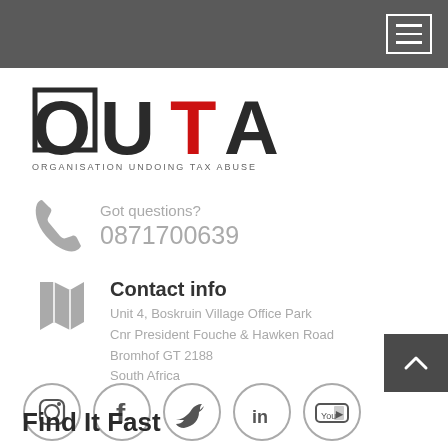[Figure (logo): OUTA logo — Organisation Undoing Tax Abuse. Bold black letters O, U, A with red T in the middle. Subtitle: ORGANISATION UNDOING TAX ABUSE]
Got questions?
0871700639
Contact info
Unit 4, Boskruin Village Office Park
Cnr President Fouche & Hawken Road
Bromhof GT 2188
South Africa
[Figure (illustration): Social media icons in circles: Instagram, Facebook, Twitter, LinkedIn, YouTube]
Find It Fast